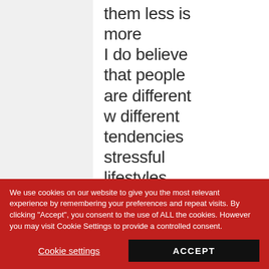them less is more I do believe that people are different w different tendencies stressful lifestyles exercise patterns each
We use cookies on our website to give you the most relevant experience by remembering your preferences and repeat visits. By clicking "Accept", you consent to the use of ALL the cookies. However you may visit Cookie Settings to provide a controlled consent.
Cookie settings
ACCEPT